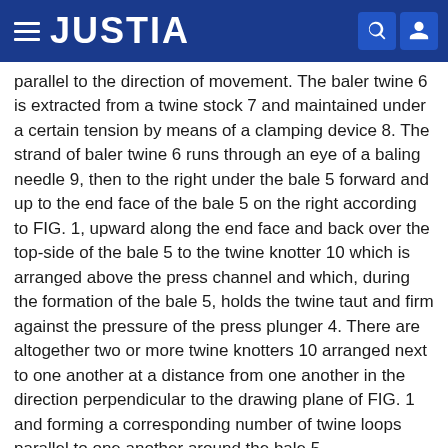JUSTIA
parallel to the direction of movement. The baler twine 6 is extracted from a twine stock 7 and maintained under a certain tension by means of a clamping device 8. The strand of baler twine 6 runs through an eye of a baling needle 9, then to the right under the bale 5 forward and up to the end face of the bale 5 on the right according to FIG. 1, upward along the end face and back over the top-side of the bale 5 to the twine knotter 10 which is arranged above the press channel and which, during the formation of the bale 5, holds the twine taut and firm against the pressure of the press plunger 4. There are altogether two or more twine knotters 10 arranged next to one another at a distance from one another in the direction perpendicular to the drawing plane of FIG. 1 and forming a corresponding number of twine loops parallel to one another around the bale 5.
On a base plate 3 located above the upper cover of the